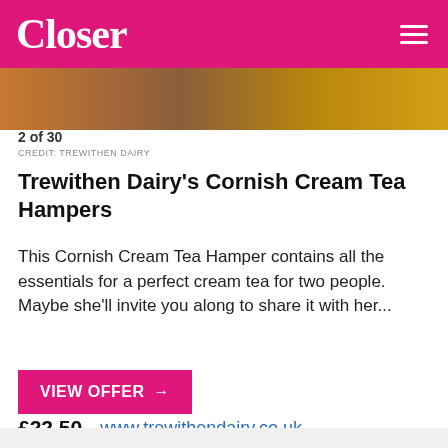Closer
2 of 30
CREDIT: TREWITHEN DAIRY
Trewithen Dairy's Cornish Cream Tea Hampers
This Cornish Cream Tea Hamper contains all the essentials for a perfect cream tea for two people. Maybe she'll invite you along to share it with her...
VIEW OFFER →
£22.50   www.trewithendairy.co.uk